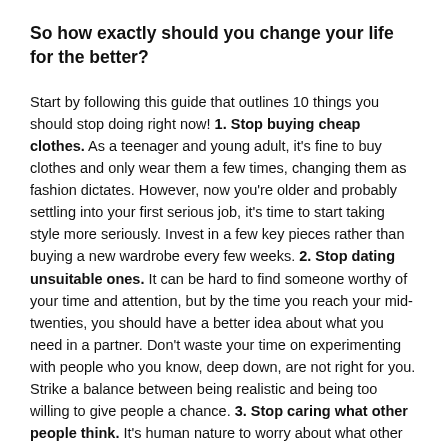So how exactly should you change your life for the better?
Start by following this guide that outlines 10 things you should stop doing right now! 1. Stop buying cheap clothes. As a teenager and young adult, it's fine to buy clothes and only wear them a few times, changing them as fashion dictates. However, now you're older and probably settling into your first serious job, it's time to start taking style more seriously. Invest in a few key pieces rather than buying a new wardrobe every few weeks. 2. Stop dating unsuitable ones. It can be hard to find someone worthy of your time and attention, but by the time you reach your mid-twenties, you should have a better idea about what you need in a partner. Don't waste your time on experimenting with people who you know, deep down, are not right for you. Strike a balance between being realistic and being too willing to give people a chance. 3. Stop caring what other people think. It's human nature to worry about what other people think of us, and no-one likes to feel as though they are being judged or criticized. However, being overly concerned with others' opinions can cause you to